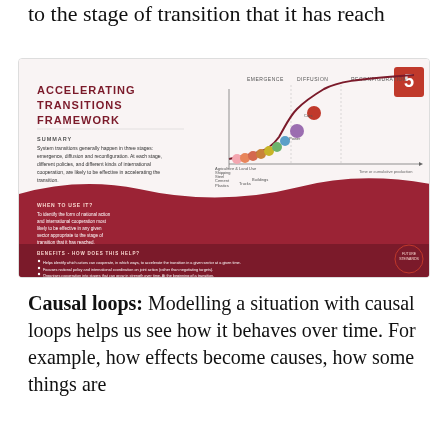to the stage of transition that it has reach
[Figure (infographic): Accelerating Transitions Framework infographic (numbered 5). Shows a summary of the framework: system transitions happen in three stages: emergence, diffusion and reconfiguration. Includes a curve chart with colored dots representing sectors (Plastics, Cement, Steel, Shipping, Agriculture & Land Use, Trucks, Buildings, Power, Cars) plotted along the transition curve. Red/dark-red background for the lower portion. Contains 'WHEN TO USE IT?' and 'BENEFITS - HOW DOES THIS HELP?' sections with bullet points. Future Stewards logo bottom right.]
Causal loops: Modelling a situation with causal loops helps us see how it behaves over time. For example, how effects become causes, how some things are self-reinforcing, and other things are dampened. Th...